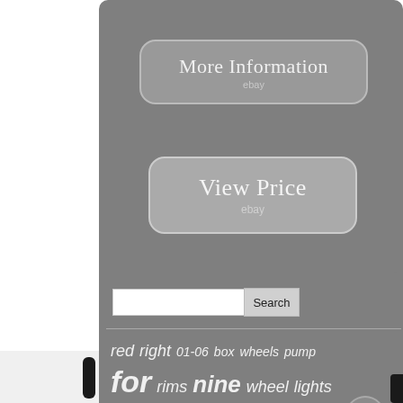[Figure (other): More Information button with ebay label on gray background]
[Figure (other): View Price button with ebay label on gray background]
[Figure (other): Social media share buttons: Facebook, Twitter, Pinterest, Email]
[Figure (other): Search box with Search button]
red right 01-06 box wheels pump for rims nine wheel lights black sport union speed bumper